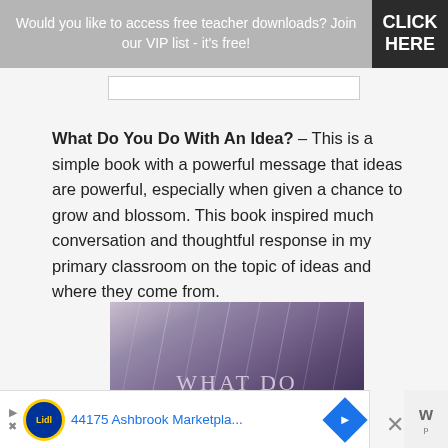Would you like to access free teacher downloads? Join our VIP list - it's free! | CLICK HERE
What Do You Do With An Idea? – This is a simple book with a powerful message that ideas are powerful, especially when given a chance to grow and blossom. This book inspired much conversation and thoughtful response in my primary classroom on the topic of ideas and where they come from.
[Figure (photo): Book cover image showing 'WHAT DO' text on a dark purple/grey textured background, partial book cover for 'What Do You Do With An Idea?']
44175 Ashbrook Marketpla...